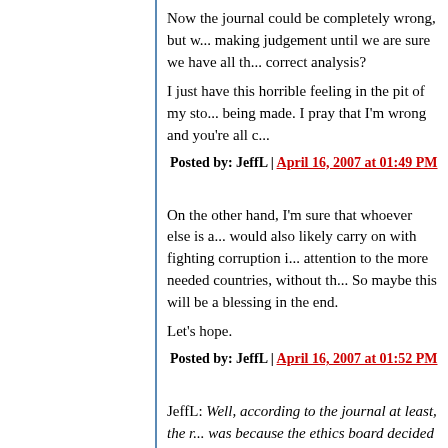Now the journal could be completely wrong, but w... making judgement until we are sure we have all th... correct analysis?
I just have this horrible feeling in the pit of my sto... being made. I pray that I'm wrong and you're all c...
Posted by: JeffL | April 16, 2007 at 01:49 PM
On the other hand, I'm sure that whoever else is a... would also likely carry on with fighting corruption i... attention to the more needed countries, without th... So maybe this will be a blessing in the end.
Let's hope.
Posted by: JeffL | April 16, 2007 at 01:52 PM
JeffL: Well, according to the journal at least, the r... was because the ethics board decided there was ... decided to give her a promotion to another positio...
No: the reason she had to leave her job was beca... his career as a Bush flunky above her career with...